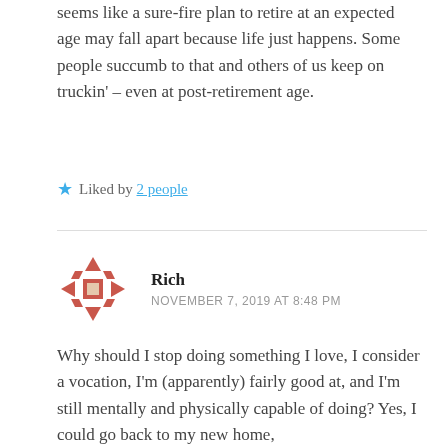seems like a sure-fire plan to retire at an expected age may fall apart because life just happens. Some people succumb to that and others of us keep on truckin' – even at post-retirement age.
★ Liked by 2 people
Rich
NOVEMBER 7, 2019 AT 8:48 PM
Why should I stop doing something I love, I consider a vocation, I'm (apparently) fairly good at, and I'm still mentally and physically capable of doing? Yes, I could go back to my new home,